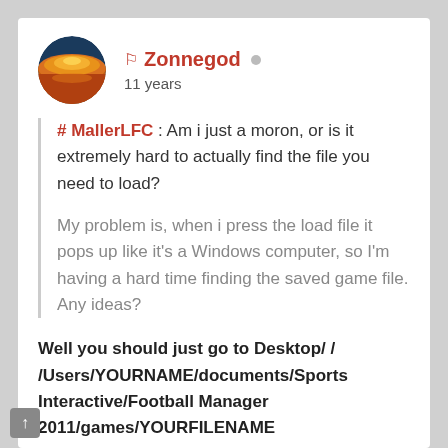[Figure (illustration): Circular avatar showing a sunset over water, orange and golden tones]
Zonnegod
11 years
# MallerLFC : Am i just a moron, or is it extremely hard to actually find the file you need to load?
My problem is, when i press the load file it pops up like it's a Windows computer, so I'm having a hard time finding the saved game file. Any ideas?
Well you should just go to Desktop/ / /Users/YOURNAME/documents/Sports Interactive/Football Manager 2011/games/YOURFILENAME